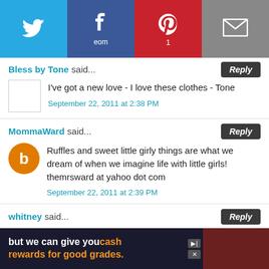[Figure (screenshot): Social share bar with Twitter, Facebook, Pinterest (count: 1), and Email buttons]
Bless by Tone said...
I've got a new love - I love these clothes - Tone
September 22, 2011 at 2:38 PM
MommaWard said...
Ruffles and sweet little girly things are what we dream of when we imagine life with little girls!
themrsward at yahoo dot com
September 22, 2011 at 2:39 PM
whitney said...
So refreshing to see gorgeous little girls clothing that doesn't have a ridiculous cat applique or something
[Figure (screenshot): Advertisement banner: 'but we can give you cash rewards for good grades.' with image of people]